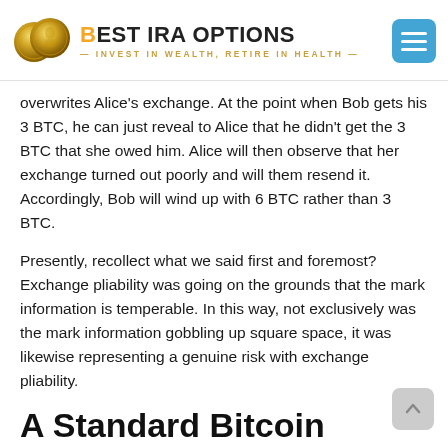BEST IRA OPTIONS — INVEST IN WEALTH, RETIRE IN HEALTH
overwrites Alice's exchange. At the point when Bob gets his 3 BTC, he can just reveal to Alice that he didn't get the 3 BTC that she owed him. Alice will then observe that her exchange turned out poorly and will them resend it. Accordingly, Bob will wind up with 6 BTC rather than 3 BTC.
Presently, recollect what we said first and foremost? Exchange pliability was going on the grounds that the mark information is temperable. In this way, not exclusively was the mark information gobbling up square space, it was likewise representing a genuine risk with exchange pliability.
A Standard Bitcoin